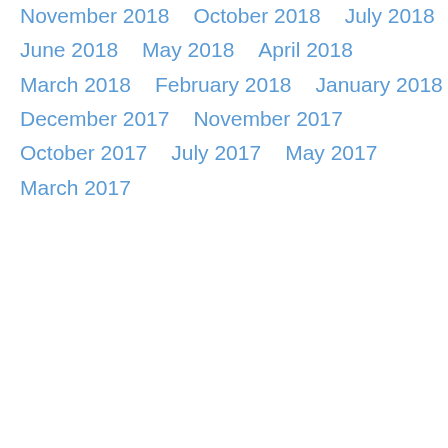November 2018
October 2018
July 2018
June 2018
May 2018
April 2018
March 2018
February 2018
January 2018
December 2017
November 2017
October 2017
July 2017
May 2017
March 2017